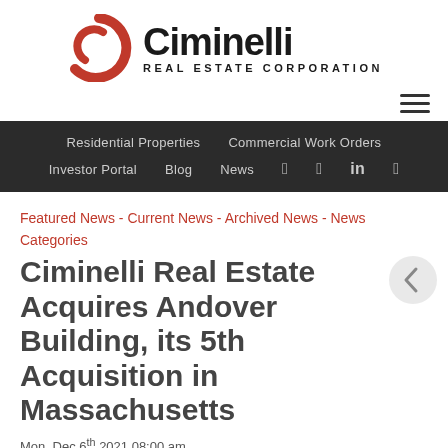[Figure (logo): Ciminelli Real Estate Corporation logo with red circular C icon and black text]
Residential Properties  Commercial Work Orders  Investor Portal  Blog  News
Featured News - Current News - Archived News - News Categories
Ciminelli Real Estate Acquires Andover Building, its 5th Acquisition in Massachusetts
Mon, Dec 6th 2021 08:00 am